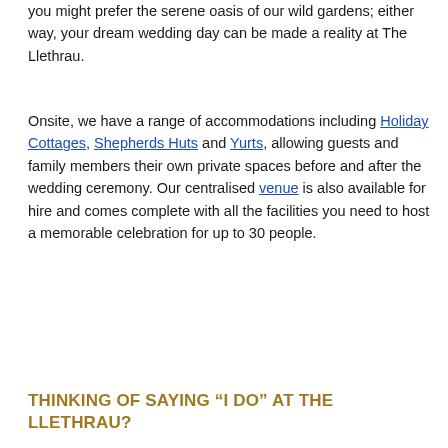you might prefer the serene oasis of our wild gardens; either way, your dream wedding day can be made a reality at The Llethrau.
Onsite, we have a range of accommodations including Holiday Cottages, Shepherds Huts and Yurts, allowing guests and family members their own private spaces before and after the wedding ceremony. Our centralised venue is also available for hire and comes complete with all the facilities you need to host a memorable celebration for up to 30 people.
THINKING OF SAYING “I DO” AT THE LLETHRAU?